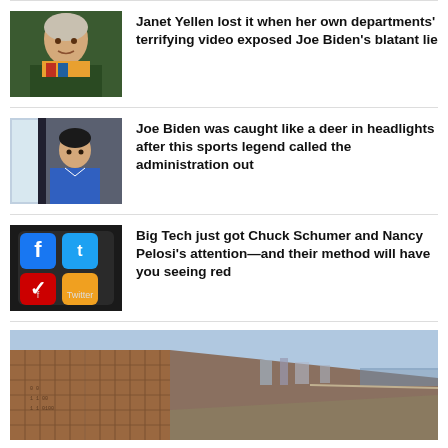[Figure (photo): Photo of Janet Yellen wearing a colorful scarf]
Janet Yellen lost it when her own departments' terrifying video exposed Joe Biden's blatant lie
[Figure (photo): Photo of a man in a blue shirt standing indoors]
Joe Biden was caught like a deer in headlights after this sports legend called the administration out
[Figure (photo): Photo of social media app icons on a smartphone screen including Facebook and Twitter]
Big Tech just got Chuck Schumer and Nancy Pelosi's attention—and their method will have you seeing red
[Figure (photo): Photo of a border wall with a city and water visible in the background]